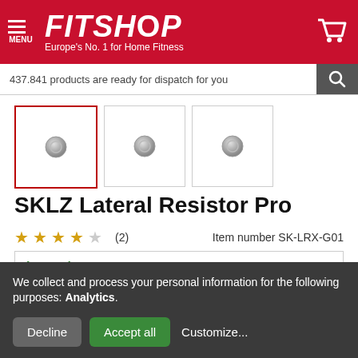[Figure (screenshot): Fitshop website header with red background, hamburger menu, FITSHOP logo in white italic bold text, tagline 'Europe's No. 1 for Home Fitness', and shopping cart icon]
437.841 products are ready for dispatch for you
[Figure (photo): Three product thumbnail images in a row, first one selected with red border, all showing a loading spinner circle icon]
SKLZ Lateral Resistor Pro
★★★★☆ (2)   Item number SK-LRX-G01
In stock
Shipping costs: 10.00 €
We collect and process your personal information for the following purposes: Analytics.
Decline   Accept all   Customize...